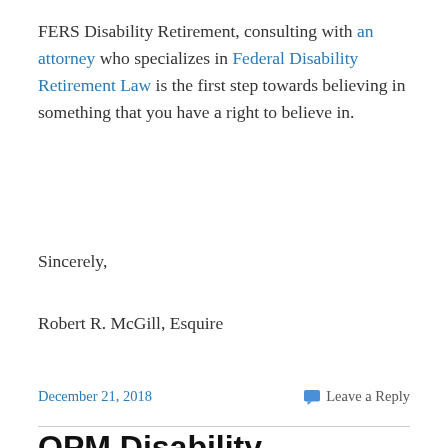FERS Disability Retirement, consulting with an attorney who specializes in Federal Disability Retirement Law is the first step towards believing in something that you have a right to believe in.
Sincerely,
Robert R. McGill, Esquire
December 21, 2018
Leave a Reply
OPM Disability Retirement from Federal Employment: Far-Flung Universes